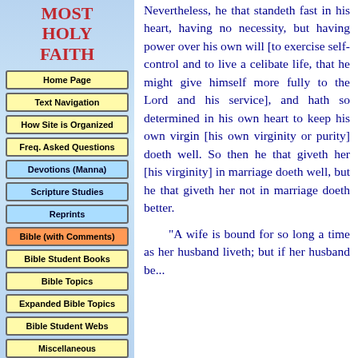MOST HOLY FAITH
Home Page
Text Navigation
How Site is Organized
Freq. Asked Questions
Devotions (Manna)
Scripture Studies
Reprints
Bible (with Comments)
Bible Student Books
Bible Topics
Expanded Bible Topics
Bible Student Webs
Miscellaneous
Nevertheless, he that standeth fast in his heart, having no necessity, but having power over his own will [to exercise self-control and to live a celibate life, that he might give himself more fully to the Lord and his service], and hath so determined in his own heart to keep his own virgin [his own virginity or purity] doeth well. So then he that giveth her [his virginity] in marriage doeth well, but he that giveth her not in marriage doeth better.
"A wife is bound for so long a time as her husband liveth; but if her husband be..."